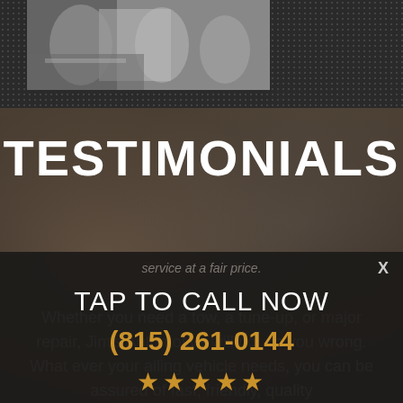[Figure (photo): Top banner area with dark dotted background and a photo of people near a vehicle, with 'Click Here To Learn More' text overlay]
TESTIMONIALS
Whether you need a tow, a tune-up, or major repair, Jim's Automotive will not do you wrong. What ever your ailing vehicle needs, you can be assured of fast, friendly, quality service at a fair price.
X
TAP TO CALL NOW
(815) 261-0144
[Figure (other): Five gold star rating icons]